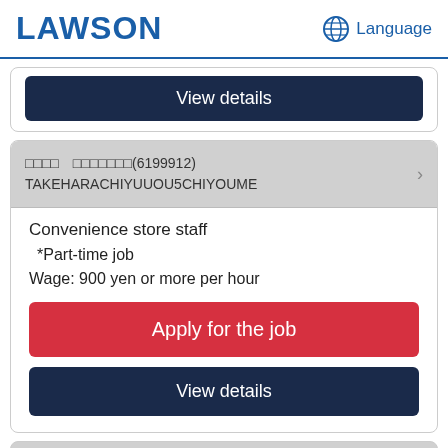LAWSON
Language
View details
□□□□　□□□□□□□(6199912)
TAKEHARACHIYUUOU5CHIYOUME
Convenience store staff
*Part-time job
Wage: 900 yen or more per hour
Apply for the job
View details
Working conditions